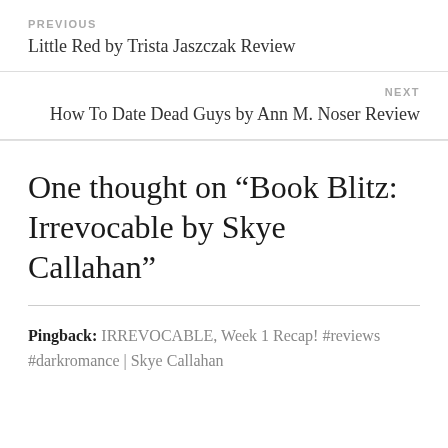PREVIOUS
Little Red by Trista Jaszczak Review
NEXT
How To Date Dead Guys by Ann M. Noser Review
One thought on “Book Blitz: Irrevocable by Skye Callahan”
Pingback: IRREVOCABLE, Week 1 Recap! #reviews #darkromance | Skye Callahan